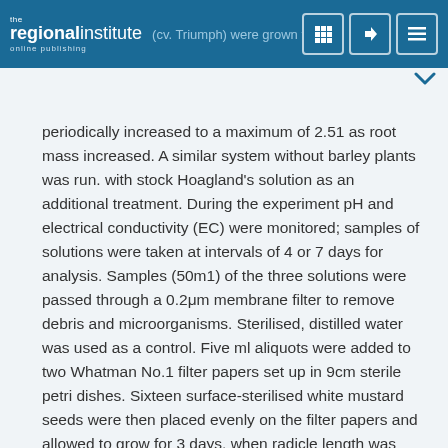the regionalinstitute online publishing — (cv. Triumph) were grown [navigation buttons]
periodically increased to a maximum of 2.51 as root mass increased. A similar system without barley plants was run. with stock Hoagland's solution as an additional treatment. During the experiment pH and electrical conductivity (EC) were monitored; samples of solutions were taken at intervals of 4 or 7 days for analysis. Samples (50m1) of the three solutions were passed through a 0.2μm membrane filter to remove debris and microorganisms. Sterilised, distilled water was used as a control. Five ml aliquots were added to two Whatman No.1 filter papers set up in 9cm sterile petri dishes. Sixteen surface-sterilised white mustard seeds were then placed evenly on the filter papers and allowed to grow for 3 days, when radicle length was measured. Bioassays were replicated four times.
Results and discussion